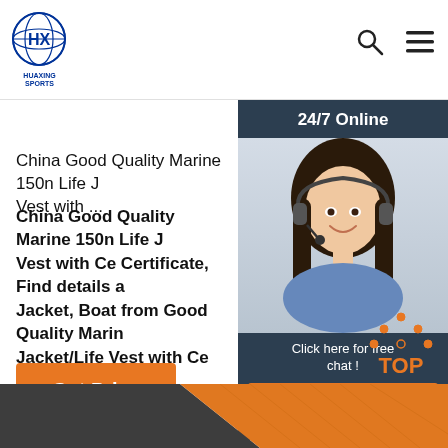HUAXING SPORTS
China Good Quality Marine 150n Life J Vest with ...
China Good Quality Marine 150n Life J Vest with Ce Certificate, Find details a Jacket, Boat from Good Quality Marin Jacket/Life Vest with Ce Certificate - Haixing Maritime Equipment Co., Ltd.
Get Price
24/7 Online
Click here for free chat !
QUOTATION
TOP
[Figure (photo): Customer service agent woman with headset smiling]